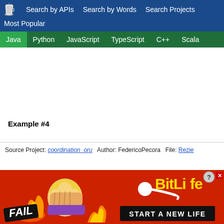Search by APIs   Search by Words   Search Projects   Most Popular
Java   Python   JavaScript   TypeScript   C++   Scala
Example #4
Source Project: coordination_oru   Author: FedericoPecora   File: Rezie
[Figure (screenshot): BitLife advertisement banner with FAIL text, animated character, flames, and 'START A NEW LIFE' button]